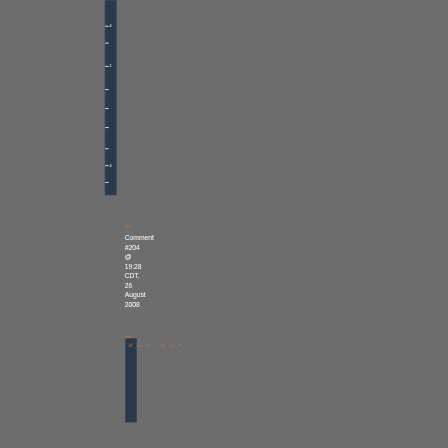[Figure (screenshot): Dark gray background page with a vertical navigation bar on the left-center area containing white tick marks and numbers. Below the bar are navigation arrows and a comment block.]
<<
Comment #204 @ 19:28 CDT, 26 August 2008
>>